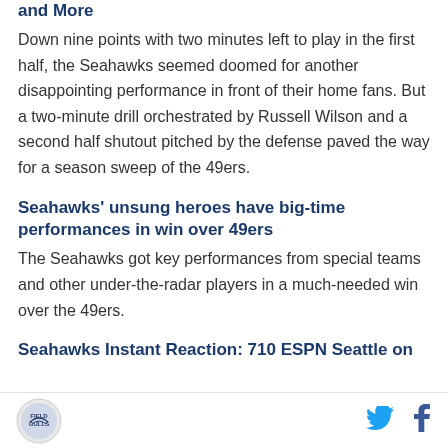and More
Down nine points with two minutes left to play in the first half, the Seahawks seemed doomed for another disappointing performance in front of their home fans. But a two-minute drill orchestrated by Russell Wilson and a second half shutout pitched by the defense paved the way for a season sweep of the 49ers.
Seahawks' unsung heroes have big-time performances in win over 49ers
The Seahawks got key performances from special teams and other under-the-radar players in a much-needed win over the 49ers.
Seahawks Instant Reaction: 710 ESPN Seattle on
Logo | Twitter | Facebook